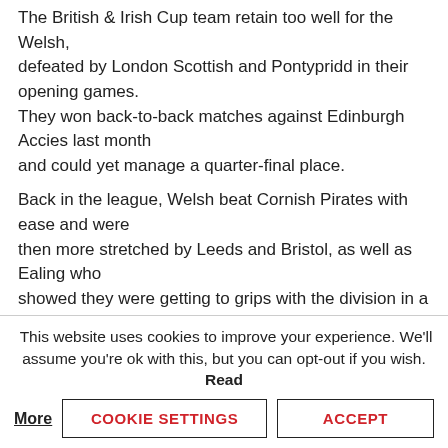The British & Irish Cup team retain too well for the Welsh, defeated by London Scottish and Pontypridd in their opening games. They won back-to-back matches against Edinburgh Accies last month and could yet manage a quarter-final place.
Back in the league, Welsh beat Cornish Pirates with ease and were then more stretched by Leeds and Bristol, as well as Ealing who showed they were getting to grips with the division in a 28-0 defeat to the unbeaten league leaders.
After defeating Moseley - 8-24 at Billesley Comon, the Welsh were
This website uses cookies to improve your experience. We'll assume you're ok with this, but you can opt-out if you wish. Read More